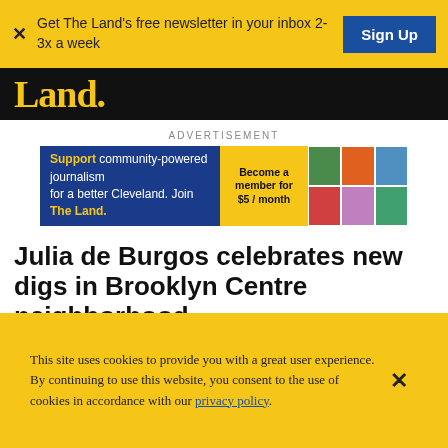Get The Land's free newsletter in your inbox 2-3x a week
Sign Up
Land.
ADVERTISEMENT
[Figure (infographic): Advertisement banner for The Land: Support community-powered journalism for a better Cleveland. Join The Land. Become a member for $5/month, with a grid of community photos on the right.]
Julia de Burgos celebrates new digs in Brooklyn Centre neighborhood
BY GREGORY BURNETT • ARTS & CULTURE • MAY 24, 2021
[Figure (infographic): Social share icons: Facebook, Twitter, LinkedIn, Reddit, WhatsApp, Email, Bookmark]
This site uses cookies to provide you with a great user experience. By continuing to use this website, you consent to the use of cookies in accordance with our privacy policy.